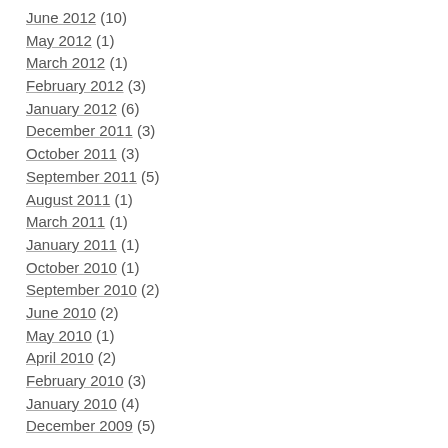June 2012 (10)
May 2012 (1)
March 2012 (1)
February 2012 (3)
January 2012 (6)
December 2011 (3)
October 2011 (3)
September 2011 (5)
August 2011 (1)
March 2011 (1)
January 2011 (1)
October 2010 (1)
September 2010 (2)
June 2010 (2)
May 2010 (1)
April 2010 (2)
February 2010 (3)
January 2010 (4)
December 2009 (5)